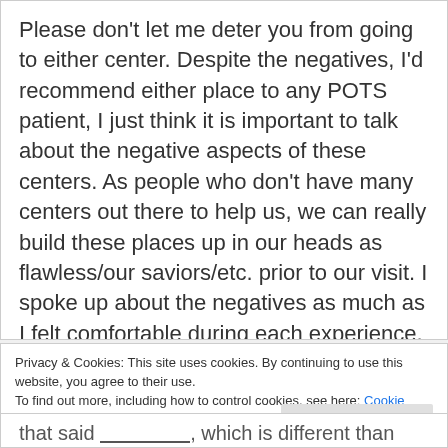Please don't let me deter you from going to either center. Despite the negatives, I'd recommend either place to any POTS patient, I just think it is important to talk about the negative aspects of these centers. As people who don't have many centers out there to help us, we can really build these places up in our heads as flawless/our saviors/etc. prior to our visit. I spoke up about the negatives as much as I felt comfortable during each experience, and I recommend you do the same. Be sure you don't do so in an accusatory, angry manner and you
Privacy & Cookies: This site uses cookies. By continuing to use this website, you agree to their use.
To find out more, including how to control cookies, see here: Cookie Policy
Close and accept
that said __________, which is different than what